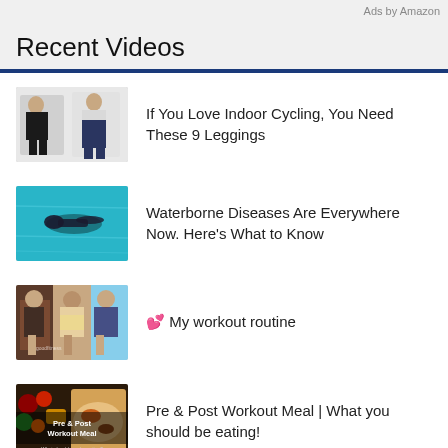Ads by Amazon
Recent Videos
[Figure (photo): Two women wearing black athletic leggings on white background]
If You Love Indoor Cycling, You Need These 9 Leggings
[Figure (photo): Person swimming underwater in blue pool]
Waterborne Diseases Are Everywhere Now. Here’s What to Know
[Figure (photo): Collage of women showing fitness/workout bodies]
💕 My workout routine
[Figure (photo): Pre & Post Workout Meal thumbnail with fruits and food]
Pre & Post Workout Meal | What you should be eating!